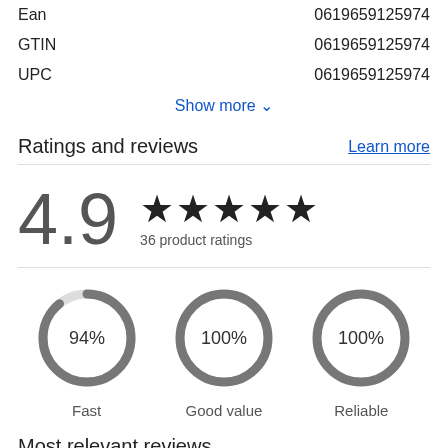|  |  |
| --- | --- |
| Ean | 0619659125974 |
| GTIN | 0619659125974 |
| UPC | 0619659125974 |
Show more ∨
Ratings and reviews
Learn more
[Figure (donut-chart): Large 4.9 rating with 5 stars and 36 product ratings]
[Figure (donut-chart): Fast 94%]
Most relevant reviews